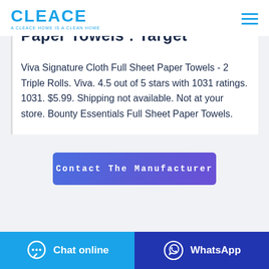[Figure (logo): CLEACE logo with tagline 'A CLEACE HOME IS A CLEAN HOME' in blue]
Paper Towels : Target
Viva Signature Cloth Full Sheet Paper Towels - 2 Triple Rolls. Viva. 4.5 out of 5 stars with 1031 ratings. 1031. $5.99. Shipping not available. Not at your store. Bounty Essentials Full Sheet Paper Towels.
Contact The Manufacturer
Chat online
WhatsApp